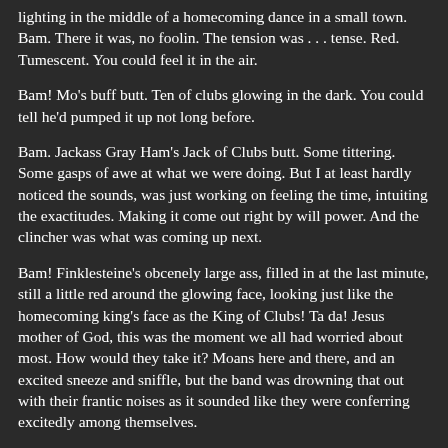lighting in the middle of a homecoming dance in a small town. Bam. There it was, no foolin. The tension was . . . tense. Red. Tumescent. You could feel it in the air.
Bam! Mo's buff butt. Ten of clubs glowing in the dark. You could tell he'd pumped it up not long before.
Bam. Jackass Gray Ham's Jack of Clubs butt. Some tittering. Some gasps of awe at what we were doing. But I at least hardly noticed the sounds, was just working on feeling the time, intuiting the exactitudes. Making it come out right by will power. And the clincher was what was coming up next.
Bam! Finklesteine's obcenely large ass, filled in at the last minute, still a little red around the glowing face, looking just like the homecoming king's face as the King of Clubs! Ta da! Jesus mother of God, this was the moment we all had worried about most. How would they take it? Moans here and there, and an excited sneeze and sniffle, but the band was drowning that out with their frantic noises as it sounded like they were conferring excitedly among themselves.
And, to top it all off, the moment of truth, the moment we had all had precarious nightmares about, Bam, the spotlight lighting up the glow in the dark outline on Guyerson's flat rear end of the Homecoming Queen of Clubs. Whew. The world still existed.